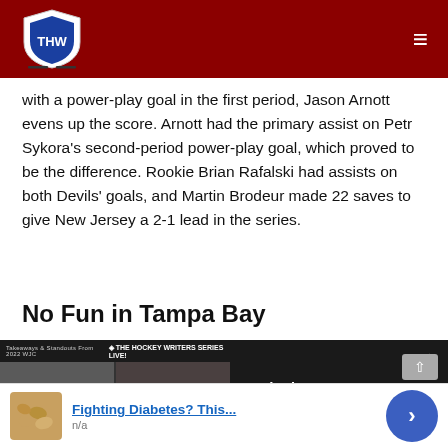THW - The Hockey Writers (header bar with logo and menu)
with a power-play goal in the first period, Jason Arnott evens up the score. Arnott had the primary assist on Petr Sykora's second-period power-play goal, which proved to be the difference. Rookie Brian Rafalski had assists on both Devils' goals, and Martin Brodeur made 22 saves to give New Jersey a 2-1 lead in the series.
No Fun in Tampa Bay
[Figure (screenshot): Embedded video player showing The Hockey Writers panel video thumbnail on left and title 'Red Wings 2022 WJC Standouts - Red Savage and Sebastian Cossa' on dark right panel with close button]
[Figure (other): Advertisement banner with food image (cashews/nuts), blue link text 'Fighting Diabetes? This...' and subtitle 'n/a', with blue circular arrow button on right]